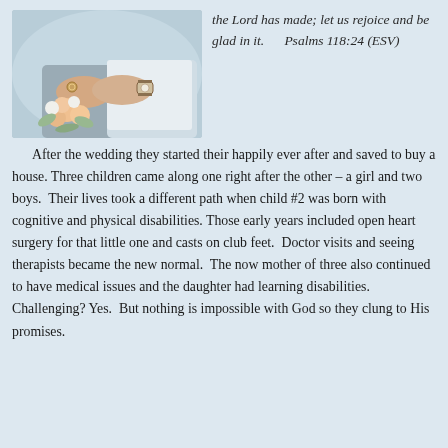[Figure (photo): Close-up of a couple's hands holding a bouquet of flowers at a wedding; the woman wears a ring and the man wears a watch.]
the Lord has made; let us rejoice and be glad in it.      Psalms 118:24 (ESV)
After the wedding they started their happily ever after and saved to buy a house. Three children came along one right after the other – a girl and two boys.  Their lives took a different path when child #2 was born with cognitive and physical disabilities. Those early years included open heart surgery for that little one and casts on club feet.  Doctor visits and seeing therapists became the new normal.  The now mother of three also continued to have medical issues and the daughter had learning disabilities. Challenging? Yes.  But nothing is impossible with God so they clung to His promises.